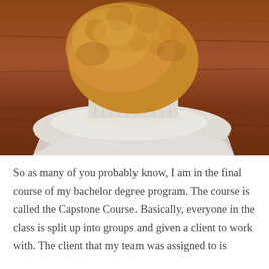[Figure (photo): Close-up photograph of a golden-brown muffin in a paper liner, sitting on a white napkin on a wooden surface]
So as many of you probably know, I am in the final course of my bachelor degree program. The course is called the Capstone Course. Basically, everyone in the class is split up into groups and given a client to work with. The client that my team was assigned to is